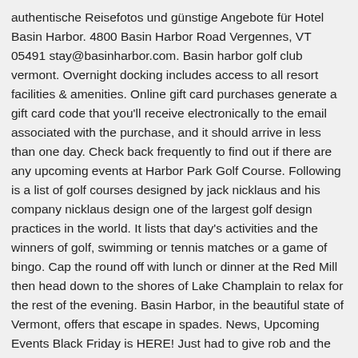authentische Reisefotos und günstige Angebote für Hotel Basin Harbor. 4800 Basin Harbor Road Vergennes, VT 05491 stay@basinharbor.com. Basin harbor golf club vermont. Overnight docking includes access to all resort facilities & amenities. Online gift card purchases generate a gift card code that you'll receive electronically to the email associated with the purchase, and it should arrive in less than one day. Check back frequently to find out if there are any upcoming events at Harbor Park Golf Course. Following is a list of golf courses designed by jack nicklaus and his company nicklaus design one of the largest golf design practices in the world. It lists that day's activities and the winners of golf, swimming or tennis matches or a game of bingo. Cap the round off with lunch or dinner at the Red Mill then head down to the shores of Lake Champlain to relax for the rest of the evening. Basin Harbor, in the beautiful state of Vermont, offers that escape in spades. News, Upcoming Events Black Friday is HERE! Just had to give rob and the whole crew at basin tackle another two thumbs up for the great service. The private harbor hosts 66 slips with power and water for boats up to 70 feet. Historic Golf Courses